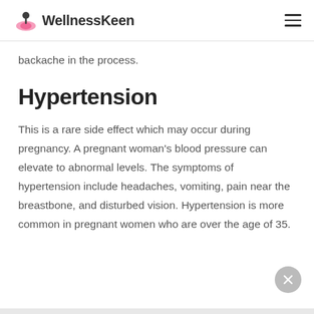WellnessKeen
backache in the process.
Hypertension
This is a rare side effect which may occur during pregnancy. A pregnant woman's blood pressure can elevate to abnormal levels. The symptoms of hypertension include headaches, vomiting, pain near the breastbone, and disturbed vision. Hypertension is more common in pregnant women who are over the age of 35.